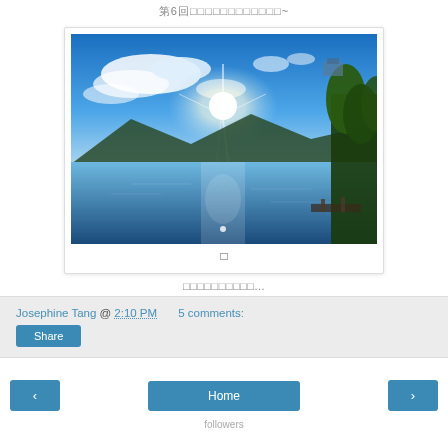第6回□□□□□□□□□□□□~
[Figure (photo): Scenic lake or ocean view with bright sunlight reflecting on water, mountains in background and tropical trees on the right]
□
□□□□□□□□□□...
Josephine Tang @ 2:10 PM   5 comments:
Share
‹   Home   ›
followers